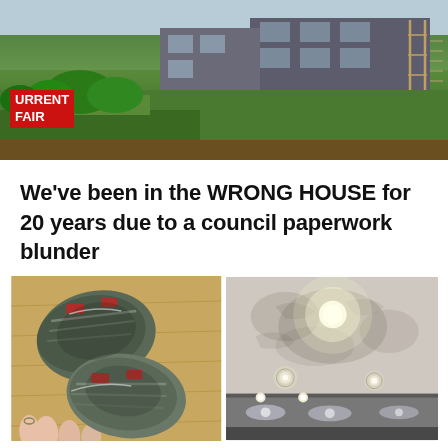[Figure (photo): Aerial or ground-level photo of a house under construction with green grass and scaffolding, with a TV news broadcast overlay badge reading 'CURRENT AFFAIR' in red]
We've been in the WRONG HOUSE for 20 years due to a council paperwork blunder
[Figure (photo): Left photo: A pair of extremely dirty/muddy shoes held by a hand with teal nail polish, against a wooden floor background. Right photo: A dirty ceiling with marks and stains, with recessed downlights visible, and what appears to be mirrors or glass panels below.]